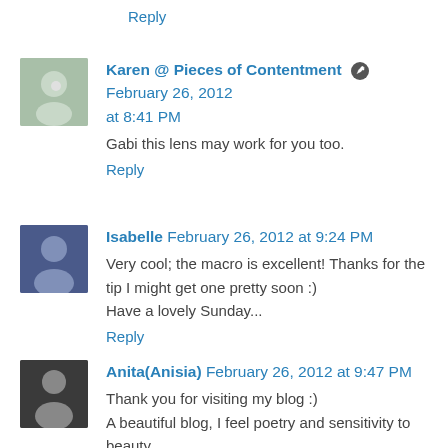Reply
Karen @ Pieces of Contentment ✏ February 26, 2012 at 8:41 PM
Gabi this lens may work for you too.
Reply
Isabelle February 26, 2012 at 9:24 PM
Very cool; the macro is excellent! Thanks for the tip I might get one pretty soon :)
Have a lovely Sunday...
Reply
Anita(Anisia) February 26, 2012 at 9:47 PM
Thank you for visiting my blog :)
A beautiful blog, I feel poetry and sensitivity to beauty ...
and thank you for the music and the singing of birds...